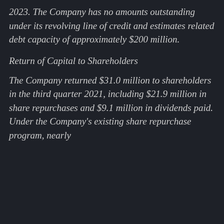2023. The Company has no amounts outstanding under its revolving line of credit and estimates related debt capacity of approximately $200 million.
Return of Capital to Shareholders
The Company returned $31.0 million to shareholders in the third quarter 2021, including $21.9 million in share repurchases and $9.1 million in dividends paid. Under the Company's existing share repurchase program, nearly